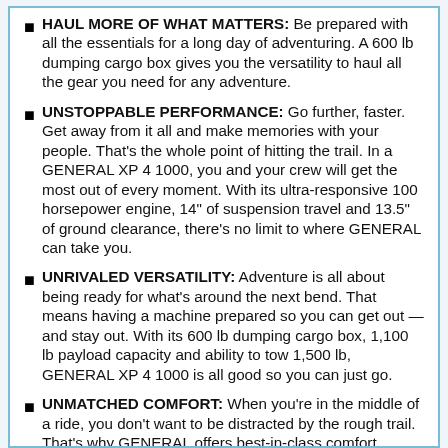HAUL MORE OF WHAT MATTERS: Be prepared with all the essentials for a long day of adventuring. A 600 lb dumping cargo box gives you the versatility to haul all the gear you need for any adventure.
UNSTOPPABLE PERFORMANCE: Go further, faster. Get away from it all and make memories with your people. That's the whole point of hitting the trail. In a GENERAL XP 4 1000, you and your crew will get the most out of every moment. With its ultra-responsive 100 horsepower engine, 14" of suspension travel and 13.5" of ground clearance, there's no limit to where GENERAL can take you.
UNRIVALED VERSATILITY: Adventure is all about being ready for what's around the next bend. That means having a machine prepared so you can get out — and stay out. With its 600 lb dumping cargo box, 1,100 lb payload capacity and ability to tow 1,500 lb, GENERAL XP 4 1000 is all good so you can just go.
UNMATCHED COMFORT: When you're in the middle of a ride, you don't want to be distracted by the rough trail. That's why GENERAL offers best-in-class comfort features that let you concentrate on what matters.